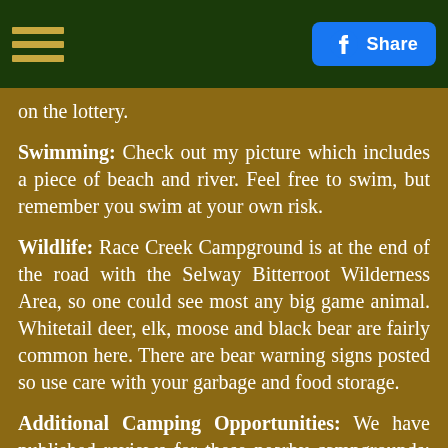Share
on the lottery.
Swimming: Check out my picture which includes a piece of beach and river. Feel free to swim, but remember you swim at your own risk.
Wildlife: Race Creek Campground is at the end of the road with the Selway Bitterroot Wilderness Area, so one could see most any big game animal. Whitetail deer, elk, moose and black bear are fairly common here. There are bear warning signs posted so use care with your garbage and food storage.
Additional Camping Opportunities: We have published reviews for these nearby campgrounds; Glover Campground, 25 Mile Bar Campground, Boyd Creek Campground, Selway Falls Campground and Slim's Camp We